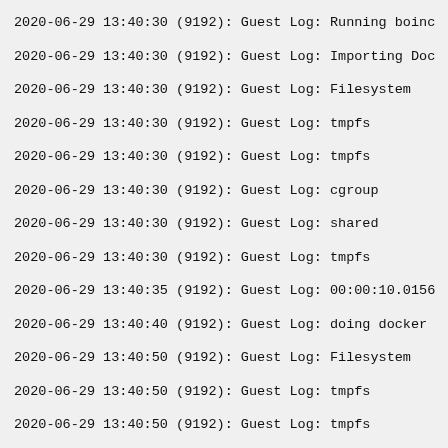2020-06-29 13:40:30 (9192): Guest Log: Running boinc
2020-06-29 13:40:30 (9192): Guest Log: Importing Doc
2020-06-29 13:40:30 (9192): Guest Log: Filesystem
2020-06-29 13:40:30 (9192): Guest Log: tmpfs
2020-06-29 13:40:30 (9192): Guest Log: tmpfs
2020-06-29 13:40:30 (9192): Guest Log: cgroup
2020-06-29 13:40:30 (9192): Guest Log: shared
2020-06-29 13:40:30 (9192): Guest Log: tmpfs
2020-06-29 13:40:35 (9192): Guest Log: 00:00:10.0156
2020-06-29 13:40:40 (9192): Guest Log: doing docker
2020-06-29 13:40:50 (9192): Guest Log: Filesystem
2020-06-29 13:40:50 (9192): Guest Log: tmpfs
2020-06-29 13:40:50 (9192): Guest Log: tmpfs